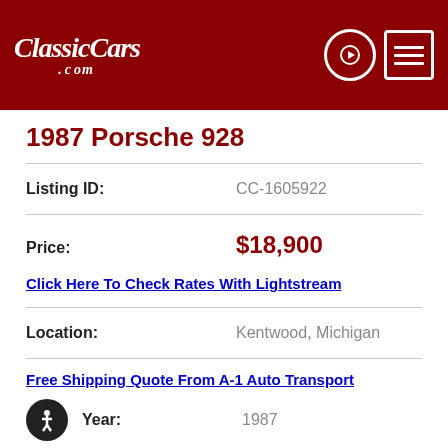ClassicCars.com
1987 Porsche 928
Listing ID: CC-1605922
Price: $18,900
Click Here To Check Rates With Lightstream
Location: Kentwood, Michigan
Free Shipping Quote From A-1 Auto Transport
Year: 1987
Inspect This Car